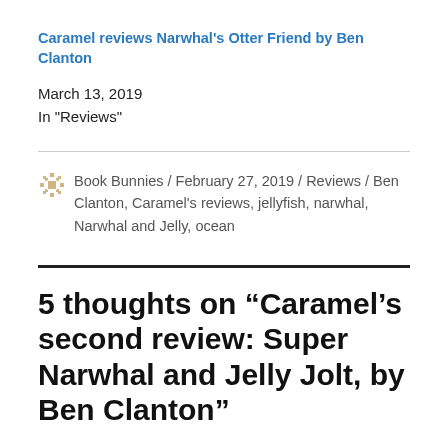Caramel reviews Narwhal's Otter Friend by Ben Clanton
March 13, 2019
In "Reviews"
Book Bunnies / February 27, 2019 / Reviews / Ben Clanton, Caramel's reviews, jellyfish, narwhal, Narwhal and Jelly, ocean
5 thoughts on “Caramel’s second review: Super Narwhal and Jelly Jolt, by Ben Clanton”